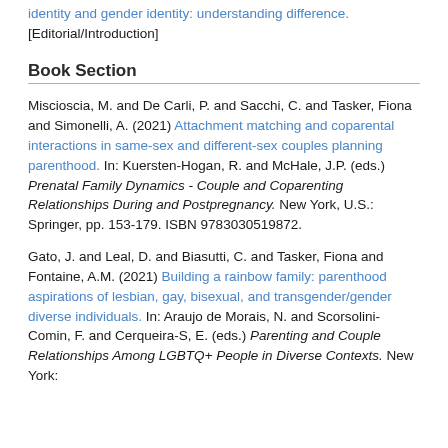identity and gender identity: understanding difference. [Editorial/Introduction]
Book Section
Miscioscia, M. and De Carli, P. and Sacchi, C. and Tasker, Fiona and Simonelli, A. (2021) Attachment matching and coparental interactions in same-sex and different-sex couples planning parenthood. In: Kuersten-Hogan, R. and McHale, J.P. (eds.) Prenatal Family Dynamics - Couple and Coparenting Relationships During and Postpregnancy. New York, U.S.: Springer, pp. 153-179. ISBN 9783030519872.
Gato, J. and Leal, D. and Biasutti, C. and Tasker, Fiona and Fontaine, A.M. (2021) Building a rainbow family: parenthood aspirations of lesbian, gay, bisexual, and transgender/gender diverse individuals. In: Araujo de Morais, N. and Scorsolini-Comin, F. and Cerqueira-S, E. (eds.) Parenting and Couple Relationships Among LGBTQ+ People in Diverse Contexts. New York: